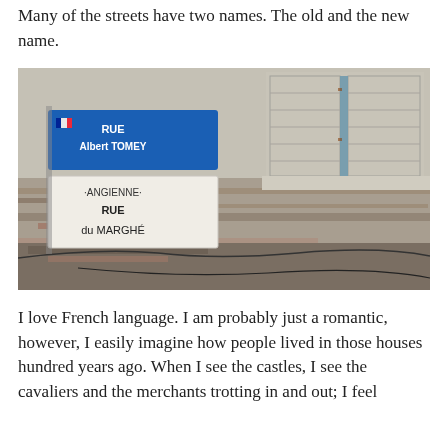Many of the streets have two names. The old and the new name.
[Figure (photo): Photograph of a building wall with two French street signs mounted on it. The blue sign reads 'RUE Albert TOMEY' and below it a white sign reads 'ANCIENNE RUE du MARCHÉ'. The building shows an aged window with wooden shutters and weathered stone walls.]
I love French language. I am probably just a romantic, however, I easily imagine how people lived in those houses hundred years ago. When I see the castles, I see the cavaliers and the merchants trotting in and out; I feel